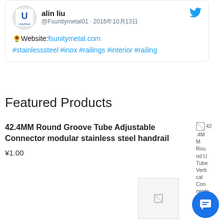[Figure (screenshot): Tweet card from @Fsunitymetal01 (alin liu) posted 2016年10月13日, showing website link fsunitymetal.com and hashtags #stainlesssteel #inox #railings #interior #railing]
Featured Products
42.4MM Round Groove Tube Adjustable Connector modular stainless steel handrail
¥1.00
[Figure (photo): Broken/loading product image thumbnail on the right side]
[Figure (photo): Small broken/loading product thumbnail image at bottom right]